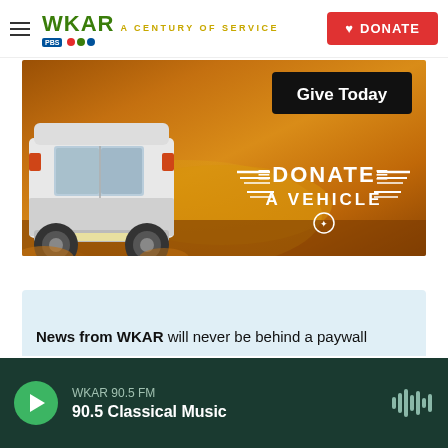WKAR A CENTURY OF SERVICE | DONATE
[Figure (photo): Advertisement banner showing a white van driving on a dirt road raising dust, with text 'Give Today' button and 'DONATE A VEHICLE' logo with wings]
News from WKAR will never be behind a paywall
WKAR 90.5 FM | 90.5 Classical Music